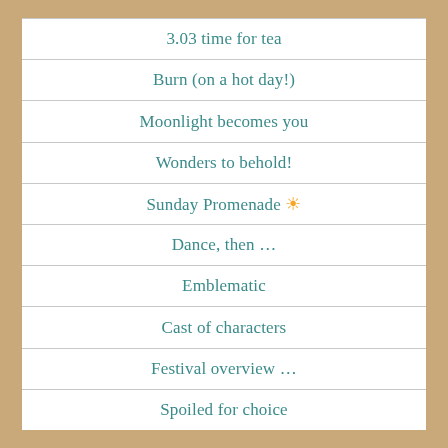3.03 time for tea
Burn (on a hot day!)
Moonlight becomes you
Wonders to behold!
Sunday Promenade ☀
Dance, then …
Emblematic
Cast of characters
Festival overview …
Spoiled for choice